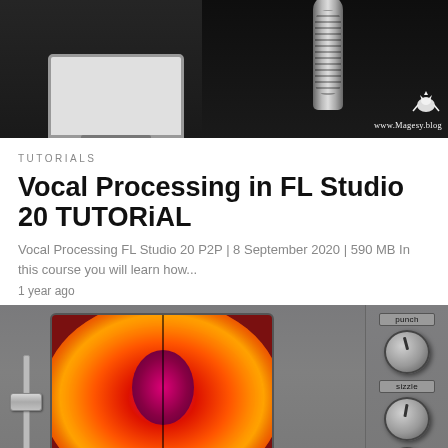[Figure (photo): Dark studio background with a condenser microphone on the right and a computer monitor on the left, with Magesy.blog logo and griffin watermark in the bottom right corner]
TUTORIALS
Vocal Processing in FL Studio 20 TUTORiAL
Vocal Processing FL Studio 20 P2P | 8 September 2020 | 590 MB In this course you will learn how...
1 year ago
[Figure (photo): Audio drum machine plugin interface with a fiery glowing eye display panel in the center, a vertical slider on the left, and control knobs labeled 'punch' and 'sizzle' on the right panel]